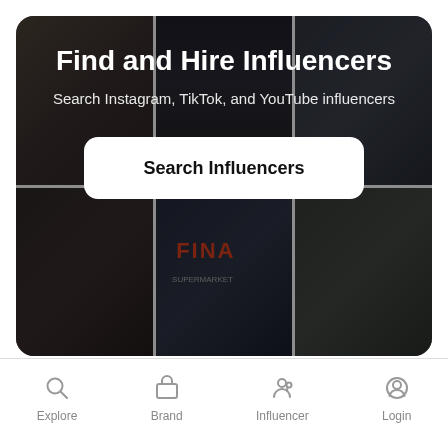[Figure (screenshot): Hero section with photo grid collage of influencers (dark overlay), white bold title 'Find and Hire Influencers', subtitle 'Search Instagram, TikTok, and YouTube influencers', and a white rounded Search Influencers button.]
Find and Hire Influencers
Search Instagram, TikTok, and YouTube influencers
Search Influencers
Explore  Brand  Influencer  Login